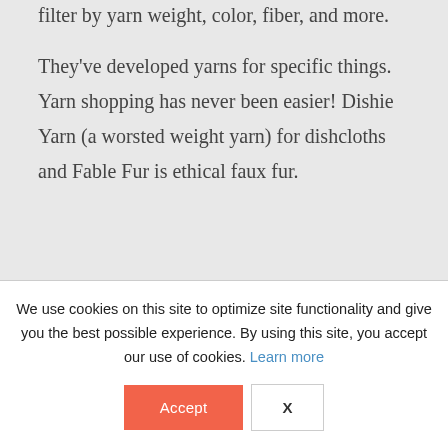filter by yarn weight, color, fiber, and more.
They've developed yarns for specific things. Yarn shopping has never been easier! Dishie Yarn (a worsted weight yarn) for dishcloths and Fable Fur is ethical faux fur.
We use cookies on this site to optimize site functionality and give you the best possible experience. By using this site, you accept our use of cookies. Learn more
Accept
X